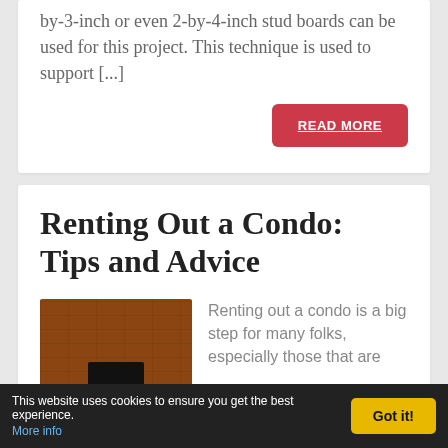by-3-inch or even 2-by-4-inch stud boards can be used for this project. This technique is used to support [...]
READ MORE
Renting Out a Condo: Tips and Advice
[Figure (photo): Photo of a brick wall with a TV mounted, interior room setting]
Renting out a condo is a big step for many folks, especially those that are
This website uses cookies to ensure you get the best experience. More info  Got it!